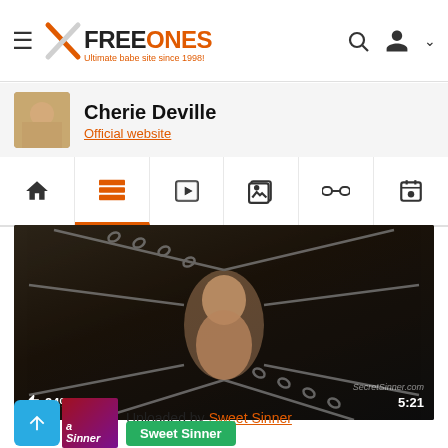FreeOnes - Ultimate babe site since 1998!
Cherie Deville
Official website
[Figure (screenshot): Navigation tab bar with home, list, video, photo, link, and calendar icons]
[Figure (photo): Video thumbnail showing content with chains, duration 5:21, rating 94%, watermark SecretSinner.com]
Uploaded by Sweet Sinner
[Figure (logo): Sweet Sinner logo thumbnail]